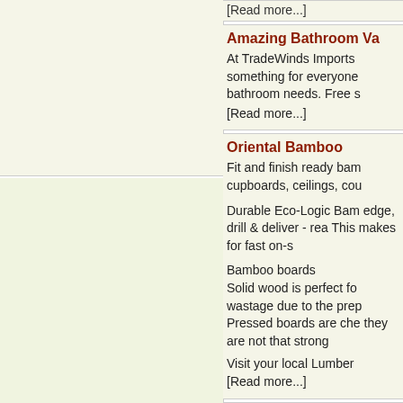[Read more...]
Amazing Bathroom Va
At TradeWinds Imports something for everyone bathroom needs. Free s [Read more...]
Oriental Bamboo
Fit and finish ready bam cupboards, ceilings, cou

Durable Eco-Logic Bam edge, drill & deliver - rea This makes for fast on-s

Bamboo boards
Solid wood is perfect fo wastage due to the prep Pressed boards are che they are not that strong

Visit your local Lumber [Read more...]
Granite countertops V
Do you have a home im can help. We have a va countertops Charlotte h [Read more...]